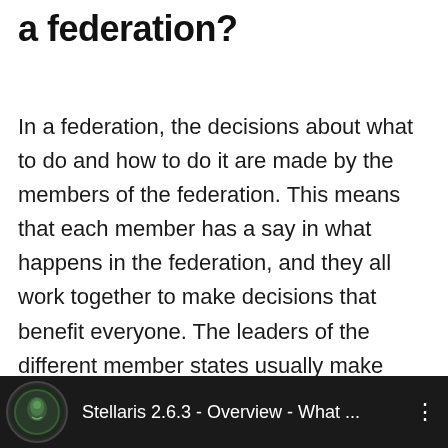a federation?
In a federation, the decisions about what to do and how to do it are made by the members of the federation. This means that each member has a say in what happens in the federation, and they all work together to make decisions that benefit everyone. The leaders of the different member states usually make most of the big decisions, but there are also many committees and boards that help make things happen. All members have an equal say in these decisions, so no one group can dominate proceedings.
[Figure (screenshot): Video thumbnail bar showing a dark background with a circular game icon (Stellaris) and text 'Stellaris 2.6.3 - Overview - What ...' with a three-dot menu icon on the right.]